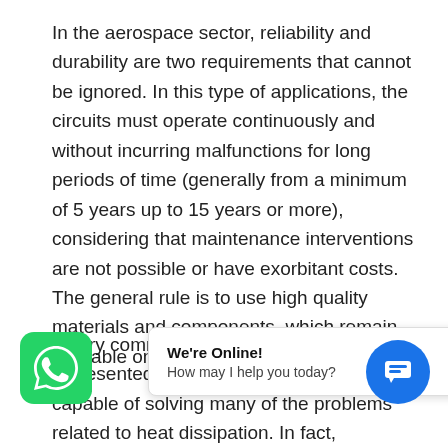In the aerospace sector, reliability and durability are two requirements that cannot be ignored. In this type of applications, the circuits must operate continuously and without incurring malfunctions for long periods of time (generally from a minimum of 5 years up to 15 years or more), considering that maintenance interventions are not possible or have exorbitant costs. The general rule is to use high quality materials and components, which remain available on the market for long periods of time.
A very common alternative to copper is represented by anodized aluminum, capable of solving many of the problems related to heat dissipation. In fact, anodized aluminum offers a t... o 1... higher than tr... R-... with a thickness of ten times less. Furthermore, it is able